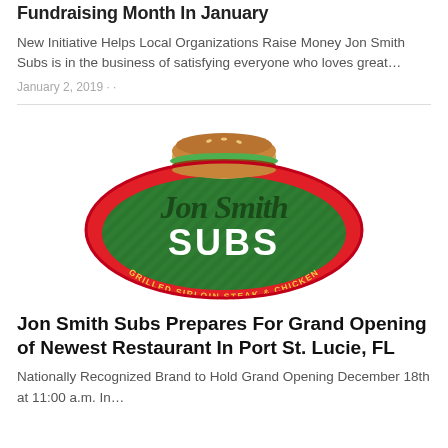Fundraising Month In January
New Initiative Helps Local Organizations Raise Money Jon Smith Subs is in the business of satisfying everyone who loves great…
January 2, 2019 · ·
[Figure (logo): Jon Smith Subs logo — oval shape with red border, green interior with diamond pattern, sandwich illustration on top, 'Jon Smith' in large green cursive script, 'SUBS' in large white bold text, 'GRILLED SIRLOIN STEAK & CHICKEN' around the bottom in yellow text]
Jon Smith Subs Prepares For Grand Opening of Newest Restaurant In Port St. Lucie, FL
Nationally Recognized Brand to Hold Grand Opening December 18th at 11:00 a.m. In…